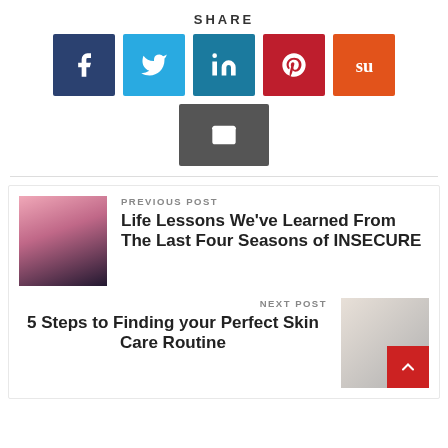SHARE
[Figure (infographic): Social sharing buttons: Facebook (dark blue), Twitter (light blue), LinkedIn (teal), Pinterest (red), StumbleUpon (orange), and Email (dark gray) icons]
PREVIOUS POST
Life Lessons We've Learned From The Last Four Seasons of INSECURE
NEXT POST
5 Steps to Finding your Perfect Skin Care Routine